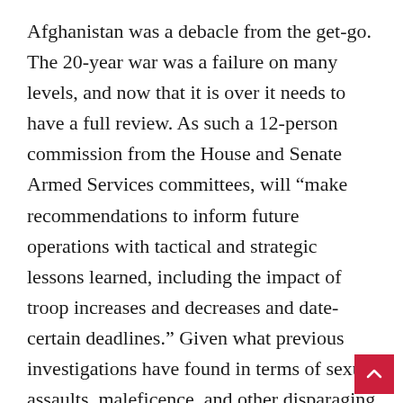Afghanistan was a debacle from the get-go. The 20-year war was a failure on many levels, and now that it is over it needs to have a full review. As such a 12-person commission from the House and Senate Armed Services committees, will “make recommendations to inform future operations with tactical and strategic lessons learned, including the impact of troop increases and decreases and date-certain deadlines.” Given what previous investigations have found in terms of sexual assaults, maleficence, and other disparaging events this investigation promises to unearth some dastardly secrets.